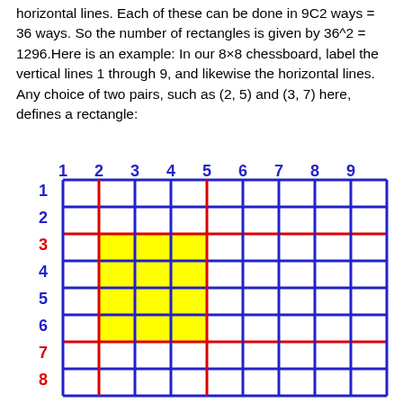horizontal lines. Each of these can be done in 9C2 ways = 36 ways. So the number of rectangles is given by 36^2 = 1296.Here is an example: In our 8×8 chessboard, label the vertical lines 1 through 9, and likewise the horizontal lines. Any choice of two pairs, such as (2, 5) and (3, 7) here, defines a rectangle:
[Figure (other): An 8×8 chessboard grid with lines labeled 1–9 on both axes. Vertical lines 2 and 5 are highlighted in red, horizontal lines 3 and 7 are highlighted in red. The interior rectangle formed by those lines (columns 2–5, rows 3–7) is shaded yellow.]